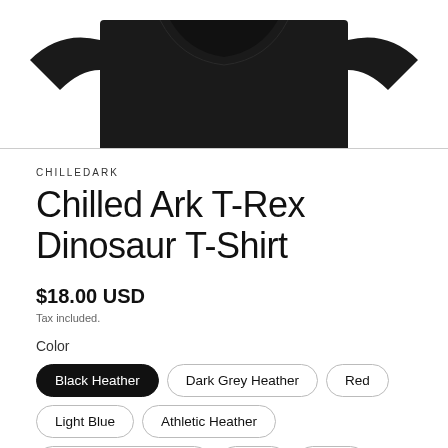[Figure (photo): Black T-shirt product photo, partial top view showing collar and shoulders on white background]
CHILLEDARK
Chilled Ark T-Rex Dinosaur T-Shirt
$18.00 USD
Tax included.
Color
Black Heather
Dark Grey Heather
Red
Light Blue
Athletic Heather
Heather Midnight Navy
Navy
Black